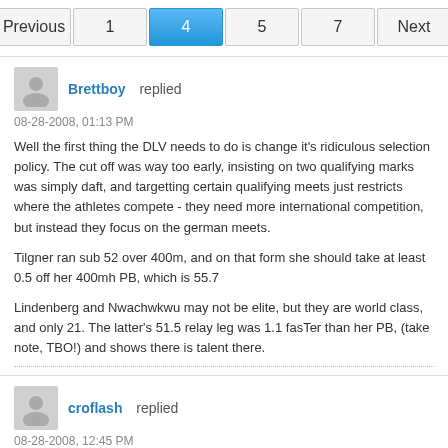[Figure (other): Pagination navigation bar with buttons: Previous, 1, 4 (active/highlighted in blue), 5, 7, Next]
Brettboy replied
08-28-2008, 01:13 PM
Well the first thing the DLV needs to do is change it's ridiculous selection policy. The cut off was way too early, insisting on two qualifying marks was simply daft, and targetting certain qualifying meets just restricts where the athletes compete - they need more international competition, but instead they focus on the german meets.

Tilgner ran sub 52 over 400m, and on that form she should take at least 0.5 off her 400mh PB, which is 55.7

Lindenberg and Nwachwkwu may not be elite, but they are world class, and only 21. The latter's 51.5 relay leg was 1.1 fasTer than her PB, (take note, TBO!) and shows there is talent there.
croflash replied
08-28-2008, 12:45 PM
Originally posted by Brettboy